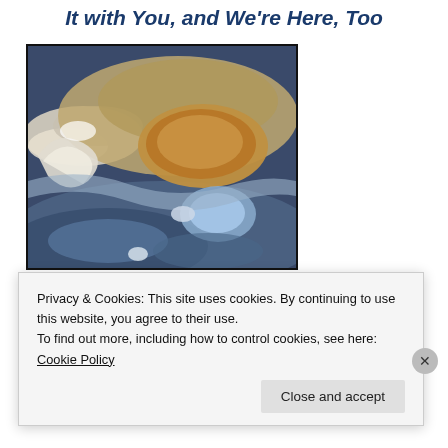It with You, and We're Here, Too
[Figure (photo): Close-up photograph of Jupiter's Great Red Spot and surrounding cloud bands, showing swirling brown, tan, white, and blue atmospheric patterns]
[Figure (photo): Partial view of a dark space image with a reddish/orange nebula or astronomical feature at the bottom]
Privacy & Cookies: This site uses cookies. By continuing to use this website, you agree to their use.
To find out more, including how to control cookies, see here: Cookie Policy
Close and accept